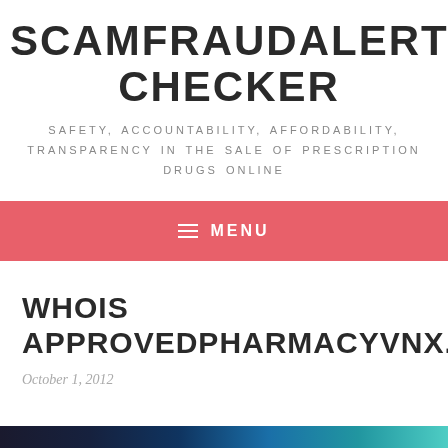SCAMFRAUDALERT®PHARMACHECKER
SAFETY, ACCOUNTABILITY, AFFORDABILITY, TRANSPARENCY IN THE SALE OF PRESCRIPTION DRUGS ONLINE
≡ MENU
WHOIS APPROVEDPHARMACYVNX.COM
October 1, 2012